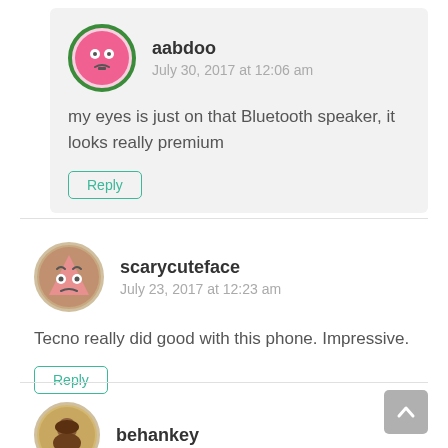[Figure (illustration): User avatar for aabdoo: pink face with white eyes on green-bordered circle]
aabdoo
July 30, 2017 at 12:06 am
my eyes is just on that Bluetooth speaker, it looks really premium
Reply
[Figure (illustration): User avatar for scarycuteface: pink angry face on beige-bordered circle]
scarycuteface
July 23, 2017 at 12:23 am
Tecno really did good with this phone. Impressive.
Reply
[Figure (illustration): User avatar for behankey: person photo on beige-bordered circle]
behankey